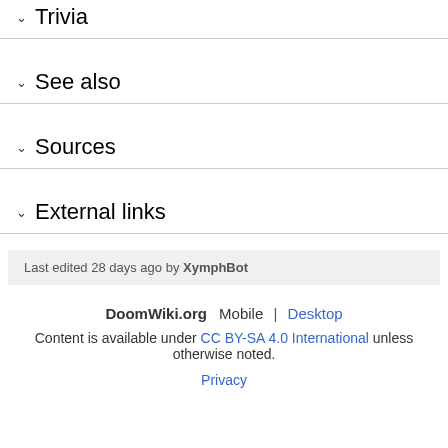Trivia
See also
Sources
External links
Last edited 28 days ago by XymphBot
DoomWiki.org  Mobile | Desktop
Content is available under CC BY-SA 4.0 International unless otherwise noted.
Privacy